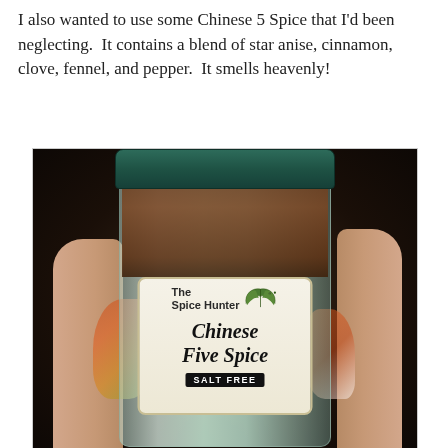I also wanted to use some Chinese 5 Spice that I'd been neglecting.  It contains a blend of star anise, cinnamon, clove, fennel, and pepper.  It smells heavenly!
[Figure (photo): A hand holding a glass jar of 'The Spice Hunter Chinese Five Spice - Salt Free' spice bottle. The jar has a dark teal/green lid, contains brown spice powder, and shows a decorative label with the brand name, product name in italic font, and a black 'SALT FREE' banner at the bottom.]